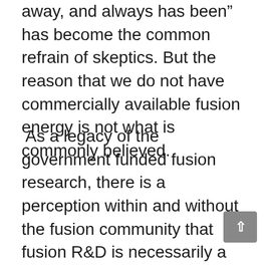away, and always has been” has become the common refrain of skeptics. But the reason that we do not have commercially available fusion energy is not what is commonly believed.
As a legacy of the government funded fusion research, there is a perception within and without the fusion community that fusion R&D is necessarily a multi-tens-of-billion-dollar and multi-decades R&D program and is thus not suitable for development by the private sector at present. It is a perception that is fostered by the establishment fusion research community (tokomak MCF and laser ICF). It is an argument used by the United States Department of Energy Office of Fusion